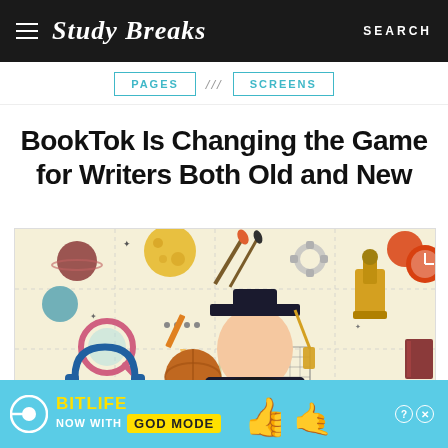Study Breaks — SEARCH
PAGES /// SCREENS
BookTok Is Changing the Game for Writers Both Old and New
[Figure (illustration): Illustration of a student in graduation cap and gown surrounded by colorful educational icons: planets, microscope, magnifying glass, headphones, paintbrushes, ruler, globe, gears, clock, books, pencils, dots on a beige/cream background.]
[Figure (infographic): Advertisement banner for BitLife game: shows BitLife logo with tagline NOW WITH GOD MODE, thumbs up emoji, blue background with yellow text, close and info buttons in top right.]